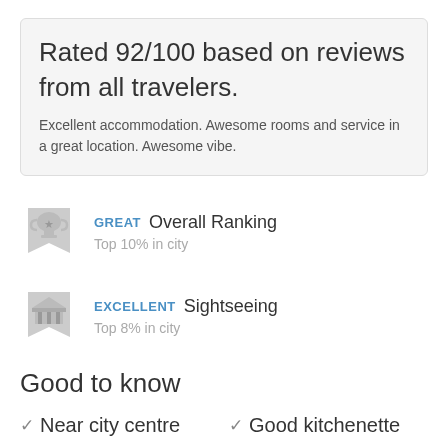Rated 92/100 based on reviews from all travelers.
Excellent accommodation. Awesome rooms and service in a great location. Awesome vibe.
GREAT  Overall Ranking
Top 10% in city
EXCELLENT  Sightseeing
Top 8% in city
Good to know
✓ Near city centre
✓ Good kitchenette
✗ Rooms could be
✓ Very quiet